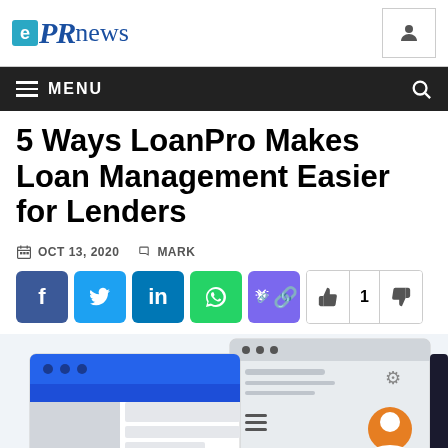ePRnews
5 Ways LoanPro Makes Loan Management Easier for Lenders
OCT 13, 2020  MARK
[Figure (illustration): Illustration of web application dashboards showing user profile and settings interface with blue and orange color scheme]
[Figure (screenshot): Screenshot-style illustration of a software interface/loan management application UI]